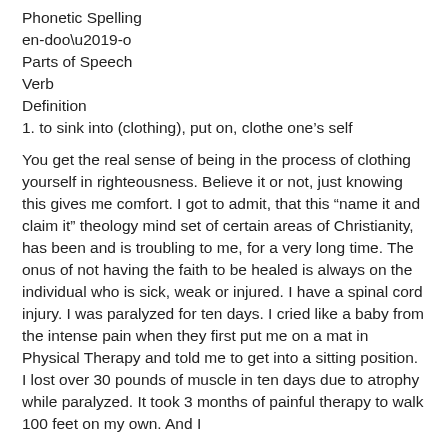Phonetic Spelling
en-doo'-o
Parts of Speech
Verb
Definition
1. to sink into (clothing), put on, clothe one’s self
You get the real sense of being in the process of clothing yourself in righteousness. Believe it or not, just knowing this gives me comfort. I got to admit, that this “name it and claim it” theology mind set of certain areas of Christianity, has been and is troubling to me, for a very long time. The onus of not having the faith to be healed is always on the individual who is sick, weak or injured. I have a spinal cord injury. I was paralyzed for ten days. I cried like a baby from the intense pain when they first put me on a mat in Physical Therapy and told me to get into a sitting position. I lost over 30 pounds of muscle in ten days due to atrophy while paralyzed. It took 3 months of painful therapy to walk 100 feet on my own. And I